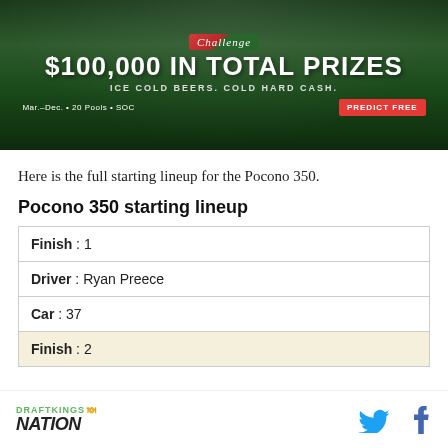[Figure (illustration): DraftKings Challenge advertisement banner showing $100,000 in total prizes for Ice Cold Beers Cold Hard Cash promotion. Mar.-Dec. 20 Pools SOC with Predict Free button.]
Here is the full starting lineup for the Pocono 350.
Pocono 350 starting lineup
| Finish : 1 |
| Driver : Ryan Preece |
| Car : 37 |
| Finish : 2 |
DRAFTKINGS NATION